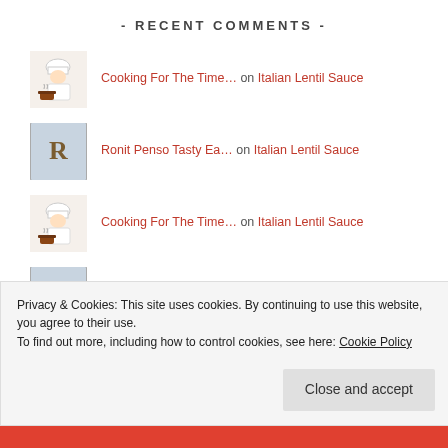- RECENT COMMENTS -
Cooking For The Time… on Italian Lentil Sauce
Ronit Penso Tasty Ea… on Italian Lentil Sauce
Cooking For The Time… on Italian Lentil Sauce
Ronit Penso Tasty Ea… on Italian Lentil Sauce
Cooking For The Time… on Italian Lentil Sauce
Privacy & Cookies: This site uses cookies. By continuing to use this website, you agree to their use.
To find out more, including how to control cookies, see here: Cookie Policy
Close and accept